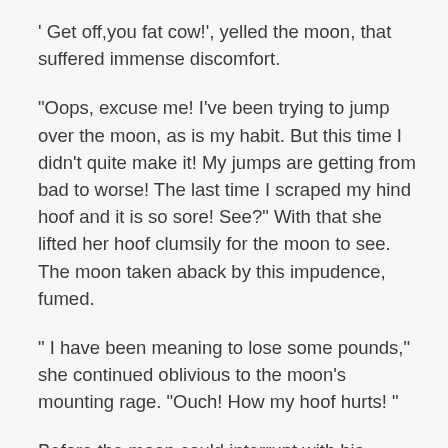' Get off,you fat cow!', yelled the moon, that suffered immense discomfort.
"Oops, excuse me! I've been trying to jump over the moon, as is my habit. But this time I didn't quite make it! My jumps are getting from bad to worse! The last time I scraped my hind hoof and it is so sore! See?" With that she lifted her hoof clumsily for the moon to see. The moon taken aback by this impudence, fumed.
" I have been meaning to lose some pounds," she continued oblivious to the moon's mounting rage. "Ouch! How my hoof hurts! "
Before the moon could interrupt with his shower of abuses, the Eroisian gazed up at the